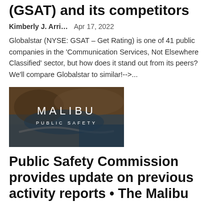(GSAT) and its competitors
Kimberly J. Arri…   Apr 17, 2022
Globalstar (NYSE: GSAT – Get Rating) is one of 41 public companies in the 'Communication Services, Not Elsewhere Classified' sector, but how does it stand out from its peers? We'll compare Globalstar to similar!-->...
[Figure (photo): Aerial photograph of a coastal cliff area with white text overlay reading 'MALIBU PUBLIC SAFETY']
Public Safety Commission provides update on previous activity reports • The Malibu